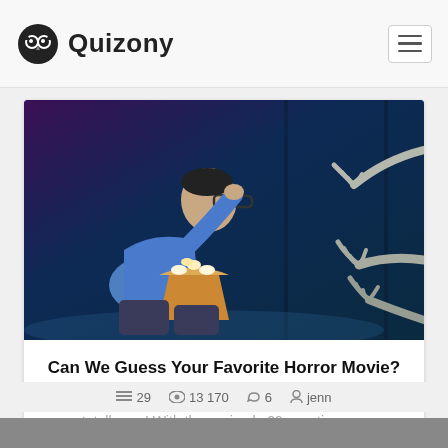Quizony
[Figure (photo): Person sitting and eating popcorn while watching something, with zombie/monster hands reaching from the right side, dark blue-tinted horror scene]
Can We Guess Your Favorite Horror Movie?
Wondering if we can guess your fav horror movie? We totally can! With these simple 29 questions, ...
29  13 170  6  jenn